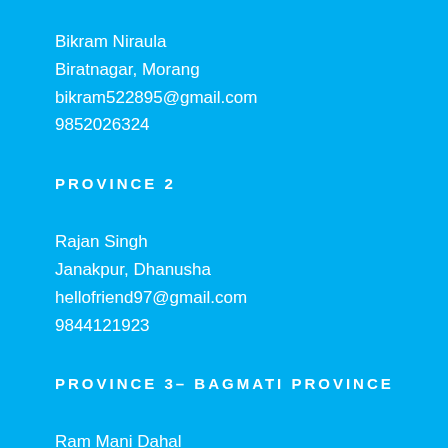Bikram Niraula
Biratnagar, Morang
bikram522895@gmail.com
9852026324
PROVINCE 2
Rajan Singh
Janakpur, Dhanusha
hellofriend97@gmail.com
9844121923
PROVINCE 3– BAGMATI PROVINCE
Ram Mani Dahal
Hetauda